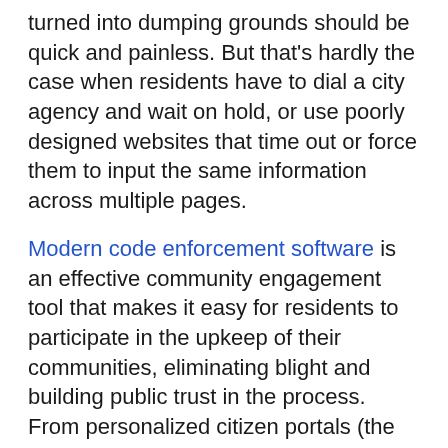turned into dumping grounds should be quick and painless. But that's hardly the case when residents have to dial a city agency and wait on hold, or use poorly designed websites that time out or force them to input the same information across multiple pages.
Modern code enforcement software is an effective community engagement tool that makes it easy for residents to participate in the upkeep of their communities, eliminating blight and building public trust in the process. From personalized citizen portals (the same portals as mentioned above), residents can receive notifications, issue complaints, and stay on top of all the code compliance requirements that apply to them.
When residents experience violations, they should be